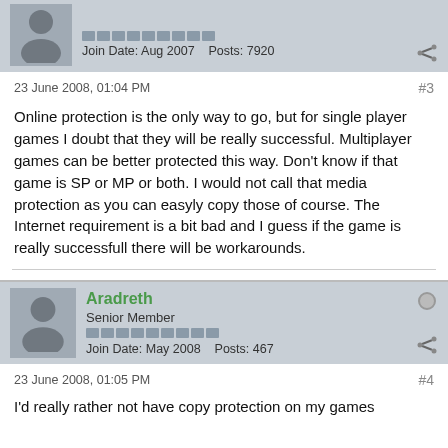Post header: Join Date: Aug 2007  Posts: 7920
23 June 2008, 01:04 PM
#3
Online protection is the only way to go, but for single player games I doubt that they will be really successful. Multiplayer games can be better protected this way. Don't know if that game is SP or MP or both. I would not call that media protection as you can easyly copy those of course. The Internet requirement is a bit bad and I guess if the game is really successfull there will be workarounds.
Aradreth
Senior Member
Join Date: May 2008  Posts: 467
23 June 2008, 01:05 PM
#4
I'd really rather not have copy protection on my games